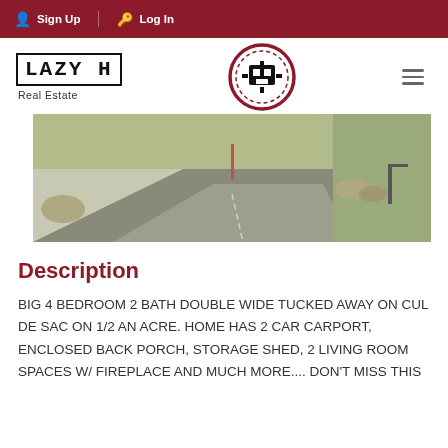Sign Up  Log In
[Figure (logo): Lazy H Real Estate logo with circular emblem]
[Figure (photo): Exterior photo of a rural property showing a gravel/paved road, grass, and fence]
Description
BIG 4 BEDROOM 2 BATH DOUBLE WIDE TUCKED AWAY ON CUL DE SAC ON 1/2 AN ACRE. HOME HAS 2 CAR CARPORT, ENCLOSED BACK PORCH, STORAGE SHED, 2 LIVING ROOM SPACES W/ FIREPLACE AND MUCH MORE.... DON'T MISS THIS